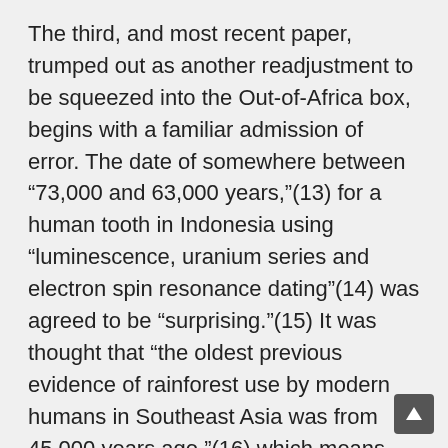The third, and most recent paper, trumped out as another readjustment to be squeezed into the Out-of-Africa box, begins with a familiar admission of error. The date of somewhere between “73,000 and 63,000 years,”(13) for a human tooth in Indonesia using “luminescence, uranium series and electron spin resonance dating”(14) was agreed to be “surprising.”(15) It was thought that “the oldest previous evidence of rainforest use by modern humans in Southeast Asia was from 45,000 years ago,”(16) which means this is yet another unwelcome recurrence in an error in timing of somewhere between 20,000 to 30,000 years beyond the agreed upper limit.
In what only compounded the inconvenience, the researchers readily agreed such a sophisticated lifestyle was at odds with not only the far more conservative date, but the actual choice of habitat was just as problematic.